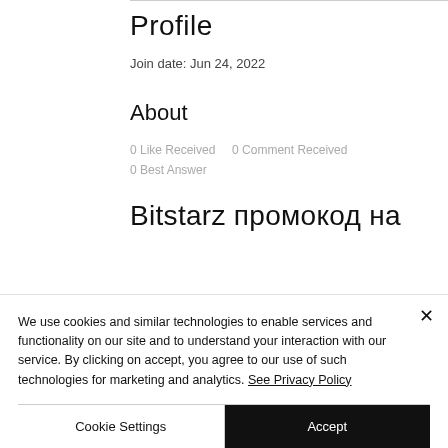Profile
Join date: Jun 24, 2022
About
0 Like Received   0 Comment Received
0 Best Answer
Bitstarz промокод на
We use cookies and similar technologies to enable services and functionality on our site and to understand your interaction with our service. By clicking on accept, you agree to our use of such technologies for marketing and analytics. See Privacy Policy
Cookie Settings
Accept